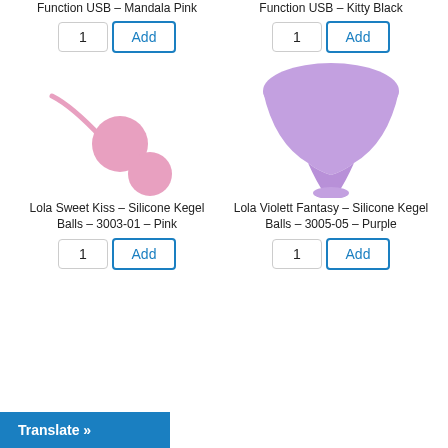Function USB – Mandala Pink
Function USB – Kitty Black
[Figure (photo): Pink silicone kegel balls with retrieval cord]
Lola Sweet Kiss – Silicone Kegel Balls – 3003-01 – Pink
[Figure (photo): Purple silicone kegel cup/funnel shaped device]
Lola Violett Fantasy – Silicone Kegel Balls – 3005-05 – Purple
Translate »